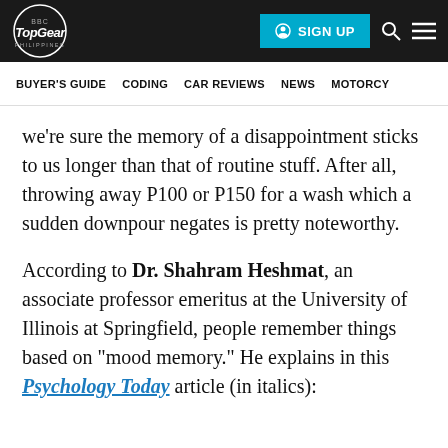Top Gear Philippines — SIGN UP | Search | Menu
BUYER'S GUIDE   CODING   CAR REVIEWS   NEWS   MOTORCY
we're sure the memory of a disappointment sticks to us longer than that of routine stuff. After all, throwing away P100 or P150 for a wash which a sudden downpour negates is pretty noteworthy.
According to Dr. Shahram Heshmat, an associate professor emeritus at the University of Illinois at Springfield, people remember things based on "mood memory." He explains in this Psychology Today article (in italics):